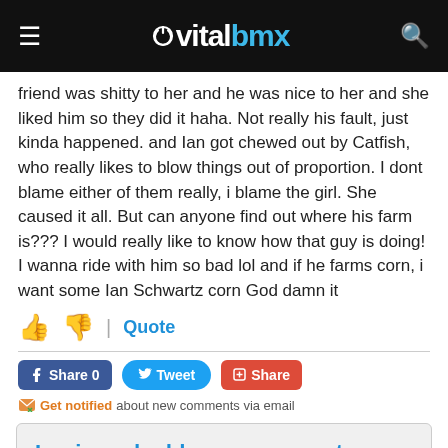VitalBMX
friend was shitty to her and he was nice to her and she liked him so they did it haha. Not really his fault, just kinda happened. and Ian got chewed out by Catfish, who really likes to blow things out of proportion. I dont blame either of them really, i blame the girl. She caused it all. But can anyone find out where his farm is??? I would really like to know how that guy is doing! I wanna ride with him so bad lol and if he farms corn, i want some Ian Schwartz corn God damn it
Quote
Share 0   Tweet   Share
Get notified about new comments via email
Login and add your comment
Forum > General BMX Talk > Dave mirra